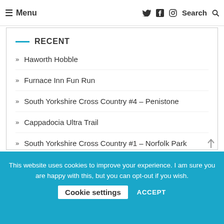≡ Menu  Twitter Facebook Instagram  Search
RECENT
Haworth Hobble
Furnace Inn Fun Run
South Yorkshire Cross Country #4 – Penistone
Cappadocia Ultra Trail
South Yorkshire Cross Country #1 – Norfolk Park
This website uses cookies to improve your experience. I am sure you are happy with this, but you can opt-out if you wish.  Cookie settings  ACCEPT